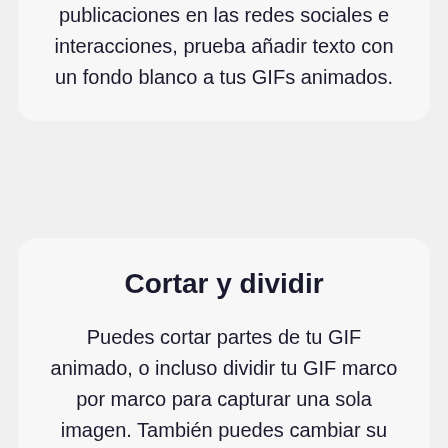publicaciones en las redes sociales e interacciones, prueba añadir texto con un fondo blanco a tus GIFs animados.
Cortar y dividir
Puedes cortar partes de tu GIF animado, o incluso dividir tu GIF marco por marco para capturar una sola imagen. También puedes cambiar su altura y ancho por las dimensiones